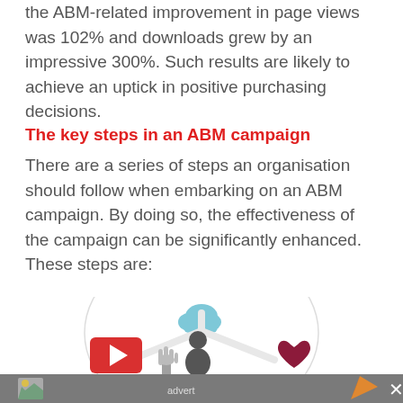the ABM-related improvement in page views was 102% and downloads grew by an impressive 300%. Such results are likely to achieve an uptick in positive purchasing decisions.
The key steps in an ABM campaign
There are a series of steps an organisation should follow when embarking on an ABM campaign. By doing so, the effectiveness of the campaign can be significantly enhanced. These steps are:
[Figure (illustration): An infographic illustration showing a circular diagram with various marketing channel icons: a cloud icon at top, a play button (video) icon at left, a raised hand icon in center-left, a heart icon at right, a person/presenter icon in center, a picture/image icon at bottom-left, a mobile device icon at bottom-center, and a paper airplane icon at bottom-right. The icons are connected by light circular lines suggesting a network or cycle.]